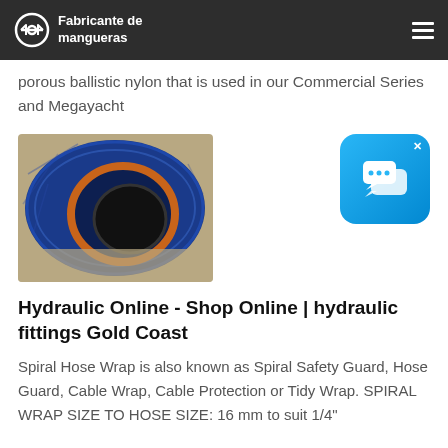Fabricante de mangueras
porous ballistic nylon that is used in our Commercial Series and Megayacht
[Figure (photo): Close-up photo of a blue hydraulic hose showing the interior bore and orange braiding layer]
[Figure (other): Blue chat/messaging app widget icon with speech bubbles and an X close button]
Hydraulic Online - Shop Online | hydraulic fittings Gold Coast
Spiral Hose Wrap is also known as Spiral Safety Guard, Hose Guard, Cable Wrap, Cable Protection or Tidy Wrap. SPIRAL WRAP SIZE TO HOSE SIZE: 16 mm to suit 1/4"